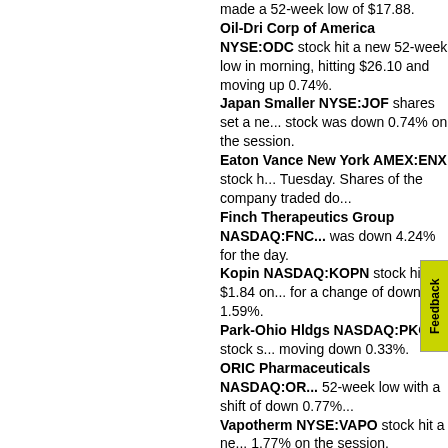made a 52-week low of $17.88. Oil-Dri Corp of America NYSE:ODC stock hit a new 52-week low in morning, hitting $26.10 and moving up 0.74%. Japan Smaller NYSE:JOF shares set a new 52-week low. stock was down 0.74% on the session. Eaton Vance New York AMEX:ENX stock hit a new 52-week low Tuesday. Shares of the company traded do... Finch Therapeutics Group NASDAQ:FNC... was down 4.24% for the day. Kopin NASDAQ:KOPN stock hit $1.84 on... for a change of down 1.59%. Park-Ohio Hldgs NASDAQ:PKOH stock s... moving down 0.33%. ORIC Pharmaceuticals NASDAQ:OR... 52-week low with a shift of down 0.77%... Vapotherm NYSE:VAPO stock hit a ne... 1.77% on the session. Precision BioSciences NASDAQ:DTI... morning, hitting $2.35 and moving up 3.15%... Xilio Therapeutics NASDAQ:XLO shares... 52-week low of $5.21, drifting down 4.56%. Shattuck Labs NASDAQ:STTK stock achi... morning, hitting $3.36 and moving up 1.169... CytomX Therapeutics NASDAQ:CTMX st... Tuesday, moving up 1.36%. Western Asset Municipal NYSE:MHF sha... morning. The stock was up 0.01% on the se... BNY Mellon Municipal AMEX:DMF shares... The stock was down 0.71% on the session. Passage Bio NASDAQ:PASG shares fell to... low with a shift of up 0.77%.